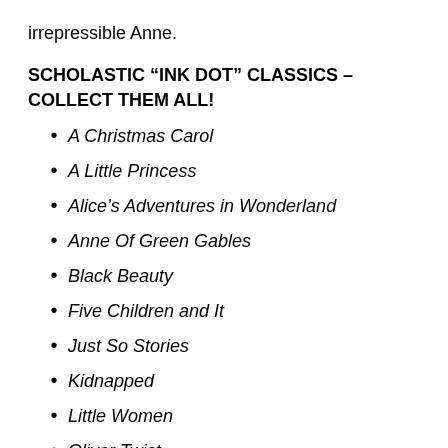irrepressible Anne.
SCHOLASTIC “INK DOT” CLASSICS – COLLECT THEM ALL!
A Christmas Carol
A Little Princess
Alice’s Adventures in Wonderland
Anne Of Green Gables
Black Beauty
Five Children and It
Just So Stories
Kidnapped
Little Women
Oliver Twist
Pollyanna
The Happy Prince and Other Stories